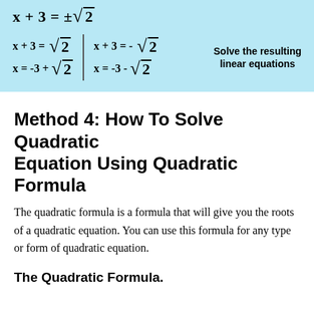[Figure (math-figure): Blue background box showing steps to solve quadratic by square root method. Top: x + 3 = ±√2. Below, two columns split by vertical line. Left: x + 3 = √2, x = -3 + √2. Right: x + 3 = -√2, x = -3 - √2. Label: Solve the resulting linear equations.]
Method 4: How To Solve Quadratic Equation Using Quadratic Formula
The quadratic formula is a formula that will give you the roots of a quadratic equation. You can use this formula for any type or form of quadratic equation.
The Quadratic Formula.